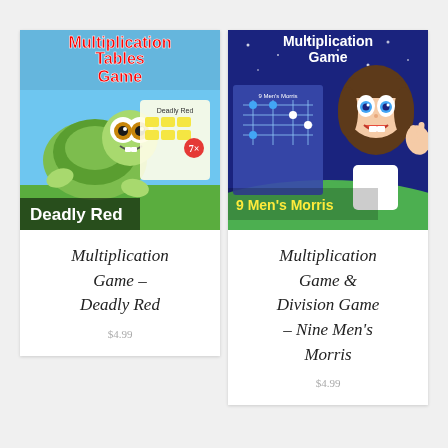[Figure (illustration): Book cover: Multiplication Tables Game – Deadly Red. Features a cartoon green turtle character with big eyes on a blue background, with text 'Multiplication Tables Game' in red and yellow, and 'Deadly Red' in white at the bottom.]
Multiplication Game – Deadly Red
[Figure (illustration): Book cover: Multiplication Game & Division Game – Nine Men's Morris. Features a cartoon girl with brown hair and big eyes on a dark blue sky background, with 'Multiplication Game' in white text and '9 Men's Morris' in yellow/blue at the bottom.]
Multiplication Game & Division Game – Nine Men's Morris